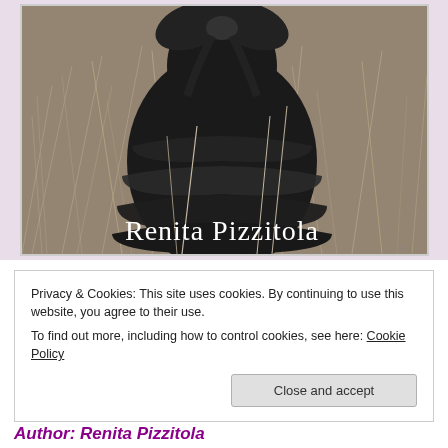[Figure (photo): Book cover photo showing a figure in a black ruffled dress with a large bow, standing in a field of dry grass. The name 'Renita Pizzitola' is displayed in white serif text at the bottom of the image. The cover has a light purple/lavender border.]
Privacy & Cookies: This site uses cookies. By continuing to use this website, you agree to their use.
To find out more, including how to control cookies, see here: Cookie Policy
[Close and accept]
Author: Renita Pizzitola